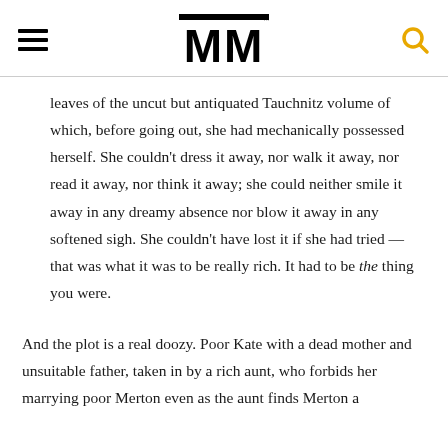MM
leaves of the uncut but antiquated Tauchnitz volume of which, before going out, she had mechanically possessed herself. She couldn’t dress it away, nor walk it away, nor read it away, nor think it away; she could neither smile it away in any dreamy absence nor blow it away in any softened sigh. She couldn’t have lost it if she had tried — that was what it was to be really rich. It had to be the thing you were.
And the plot is a real doozy. Poor Kate with a dead mother and unsuitable father, taken in by a rich aunt, who forbids her marrying poor Merton even as the aunt finds Merton a